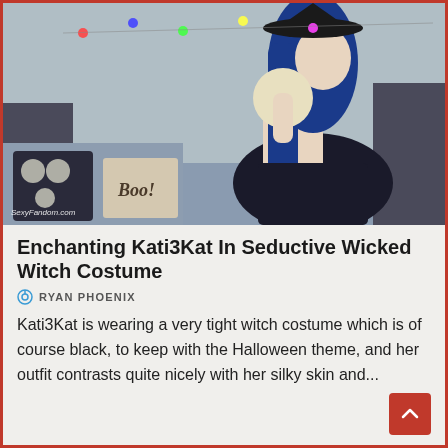[Figure (photo): Woman with blue hair wearing a black witch costume and hat, holding a decorative skull, posed on a bed with Halloween-themed pillows and decorations. Watermark reads 'SexyFandom.com']
Enchanting Kati3Kat In Seductive Wicked Witch Costume
RYAN PHOENIX
Kati3Kat is wearing a very tight witch costume which is of course black, to keep with the Halloween theme, and her outfit contrasts quite nicely with her silky skin and...